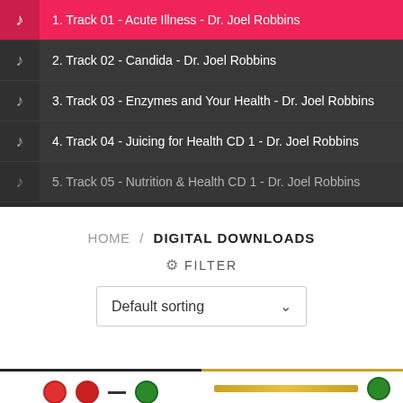1. Track 01 - Acute Illness - Dr. Joel Robbins
2. Track 02 - Candida - Dr. Joel Robbins
3. Track 03 - Enzymes and Your Health - Dr. Joel Robbins
4. Track 04 - Juicing for Health CD 1 - Dr. Joel Robbins
5. Track 05 - Nutrition & Health CD 1 - Dr. Joel Robbins
HOME / DIGITAL DOWNLOADS
FILTER
Default sorting
[Figure (other): Bottom strip showing two product thumbnails partially visible: left one with red and green circles on dark background, right one with gold/yellow bar and green circle]